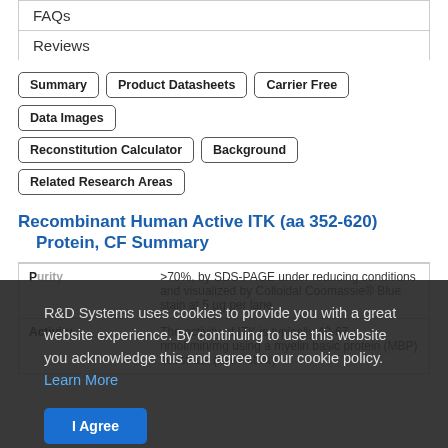FAQs
Reviews
Summary | Product Datasheets | Carrier Free | Data Images | Reconstitution Calculator | Background | Related Research Areas
Recombinant Human Active ITK (aa 352-620) Protein, CF Summary
|  |  |
| --- | --- |
| Purity | >70%, by SDS-PAGE under reducing conditions and visualized by Colloidal Coomassie® Blue stain at 5 µg per lane |
| Activity | The activity of ITK is typically 49-67 nmol/min/mg using a myelin basic protein (MBP) substrate (see Activity |
R&D Systems uses cookies to provide you with a great website experience. By continuing to use this website you acknowledge this and agree to our cookie policy. Learn More
I Agree